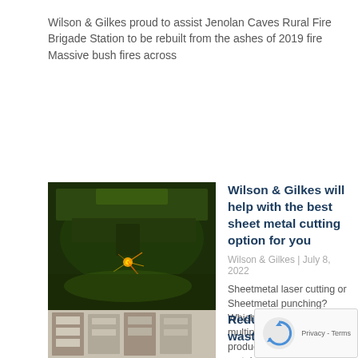Wilson & Gilkes proud to assist Jenolan Caves Rural Fire Brigade Station to be rebuilt from the ashes of 2019 fire Massive bush fires across
Read More »
[Figure (photo): Photo of industrial laser cutting machine with sparks flying on green-lit metal sheet]
Wilson & Gilkes will help with the best sheet metal cutting option for you
Wilson & Gilkes | July 8, 2022
Sheetmetal laser cutting or Sheetmetal punching? Which option? There are multiple stages of production in the sheet metal fabrication process. These include cutting the material,
Read More »
[Figure (photo): Photo of industrial shelving or storage unit]
Reduced industrial waste by u...